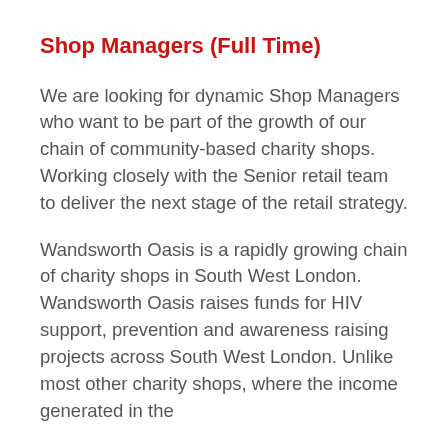Shop Managers (Full Time)
We are looking for dynamic Shop Managers who want to be part of the growth of our chain of community-based charity shops. Working closely with the Senior retail team to deliver the next stage of the retail strategy.
Wandsworth Oasis is a rapidly growing chain of charity shops in South West London. Wandsworth Oasis raises funds for HIV support, prevention and awareness raising projects across South West London. Unlike most other charity shops, where the income generated in the